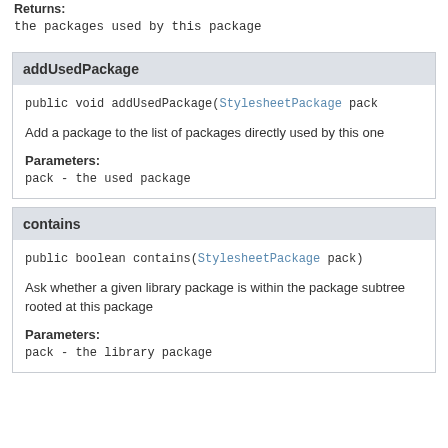Returns:
the packages used by this package
addUsedPackage
public void addUsedPackage(StylesheetPackage pack
Add a package to the list of packages directly used by this one
Parameters:
pack - the used package
contains
public boolean contains(StylesheetPackage pack)
Ask whether a given library package is within the package subtree rooted at this package
Parameters:
pack - the library package